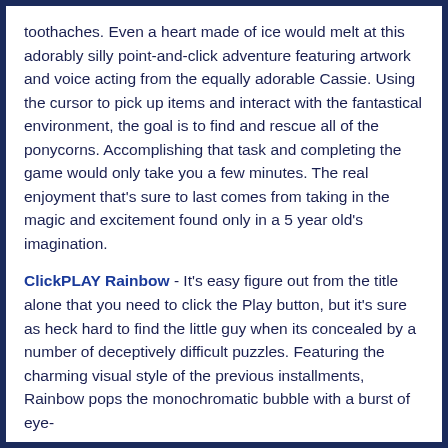toothaches. Even a heart made of ice would melt at this adorably silly point-and-click adventure featuring artwork and voice acting from the equally adorable Cassie. Using the cursor to pick up items and interact with the fantastical environment, the goal is to find and rescue all of the ponycorns. Accomplishing that task and completing the game would only take you a few minutes. The real enjoyment that's sure to last comes from taking in the magic and excitement found only in a 5 year old's imagination.
ClickPLAY Rainbow - It's easy figure out from the title alone that you need to click the Play button, but it's sure as heck hard to find the little guy when its concealed by a number of deceptively difficult puzzles. Featuring the charming visual style of the previous installments, Rainbow pops the monochromatic bubble with a burst of eye-